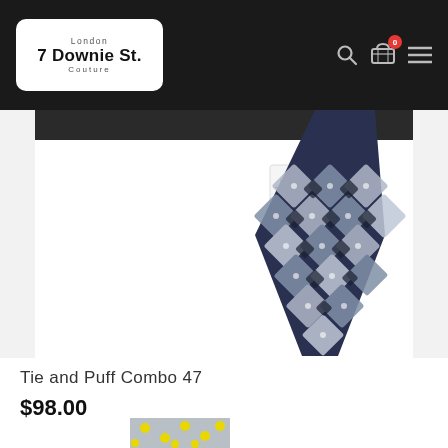7 Downie St. London Couture — navigation header with logo, search, cart (0), menu icons
[Figure (photo): Product photo of a navy/grey paisley patterned necktie with pocket square combo (Tie and Puff Combo 47) displayed on white background with brand tag visible]
Tie and Puff Combo 47
$98.00
[Figure (photo): Partial thumbnail of another product — grey fabric with yellow polka dots visible at bottom of page]